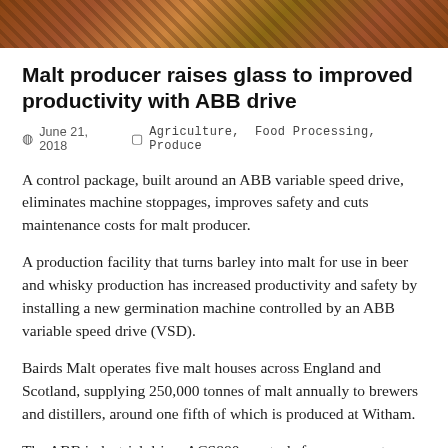[Figure (photo): Top banner image showing barley or grain close-up in warm brown/amber tones]
Malt producer raises glass to improved productivity with ABB drive
June 21, 2018   Agriculture, Food Processing, Produce
A control package, built around an ABB variable speed drive, eliminates machine stoppages, improves safety and cuts maintenance costs for malt producer.
A production facility that turns barley into malt for use in beer and whisky production has increased productivity and safety by installing a new germination machine controlled by an ABB variable speed drive (VSD).
Bairds Malt operates five malt houses across England and Scotland, supplying 250,000 tonnes of malt annually to brewers and distillers, around one fifth of which is produced at Witham.
The ABB industrial drive, ACS880, controls four gear motors located on the corners of a fifteen-tonne trolley that is used to agitate the barley during the germination process. Should a